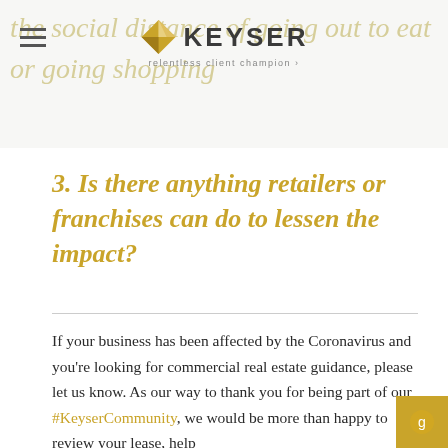the social distance of going out to eat or going shopping — KEYSER relentless client champion
3. Is there anything retailers or franchises can do to lessen the impact?
If your business has been affected by the Coronavirus and you're looking for commercial real estate guidance, please let us know. As our way to thank you for being part of our #KeyserCommunity, we would be more than happy to review your lease, help